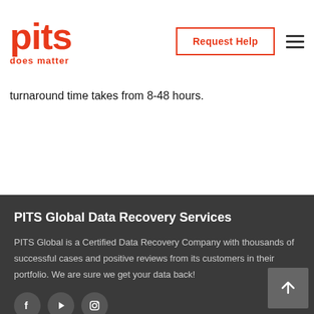PITS does matter — Request Help | Navigation menu
turnaround time takes from 8-48 hours.
PITS Global Data Recovery Services
PITS Global is a Certified Data Recovery Company with thousands of successful cases and positive reviews from its customers in their portfolio. We are sure we get your data back!
[Figure (illustration): Social media icons: Facebook, YouTube, Instagram circular buttons]
Navigate